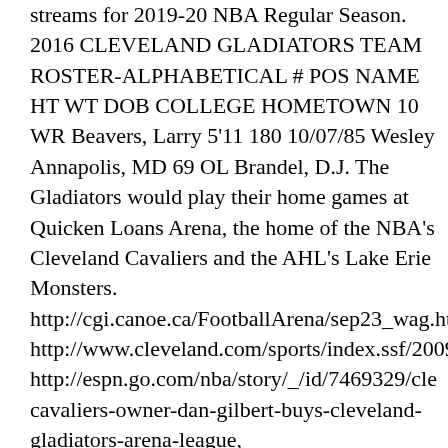streams for 2019-20 NBA Regular Season. 2016 CLEVELAND GLADIATORS TEAM ROSTER-ALPHABETICAL # POS NAME HT WT DOB COLLEGE HOMETOWN 10 WR Beavers, Larry 5'11 180 10/07/85 Wesley Annapolis, MD 69 OL Brandel, D.J. The Gladiators would play their home games at Quicken Loans Arena, the home of the NBA's Cleveland Cavaliers and the AHL's Lake Erie Monsters. http://cgi.canoe.ca/FootballArena/sep23_wag.htm http://www.cleveland.com/sports/index.ssf/2009 http://espn.go.com/nba/story/_/id/7469329/cle cavaliers-owner-dan-gilbert-buys-cleveland-gladiators-arena-league, http://www.arenafan.com/history/?page=coaches&coach=18